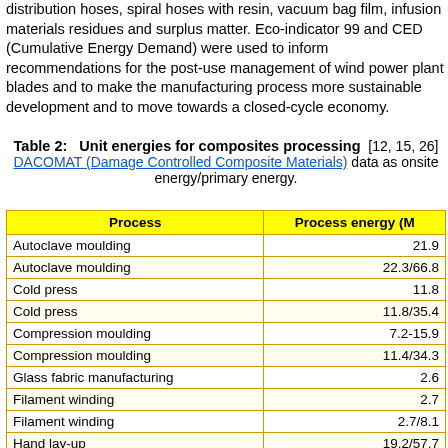distribution hoses, spiral hoses with resin, vacuum bag film, infusion materials residues and surplus matter. Eco-indicator 99 and CED (Cumulative Energy Demand) were used to inform recommendations for the post-use management of wind power plant blades and to make the manufacturing process more sustainable development and to move towards a closed-cycle economy.
Table 2: Unit energies for composites processing [12, 15, 26] DACOMAT (Damage Controlled Composite Materials) data as onsite energy/primary energy.
| Process | Process energy (M… |
| --- | --- |
| Autoclave moulding | 21.9 |
| Autoclave moulding | 22.3/66.8 |
| Cold press | 11.8 |
| Cold press | 11.8/35.4 |
| Compression moulding | 7.2-15.9 |
| Compression moulding | 11.4/34.3 |
| Glass fabric manufacturing | 2.6 |
| Filament winding | 2.7 |
| Filament winding | 2.7/8.1 |
| Hand lay-up | 19.2/57.7 |
| Injection moulding
(all-electric) | 1.6-3.5 |
| Injection moulding (hydraulic) | 19.0-29.9 |
| Injection moulding | 11.2/33.7 |